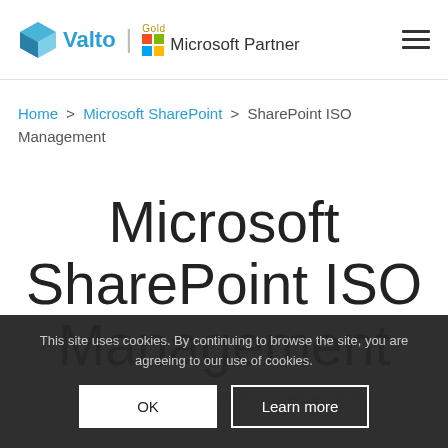Valto | Gold Microsoft Partner
Home > Microsoft SharePoint > SharePoint ISO Management
Microsoft SharePoint ISO Management
Easily manage ISO & MS processes and tools.
This site uses cookies. By continuing to browse the site, you are agreeing to our use of cookies.